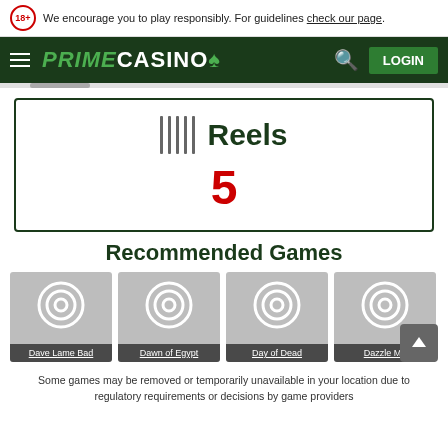We encourage you to play responsibly. For guidelines check our page.
[Figure (logo): Prime Casino navigation bar with hamburger menu, logo, search and login button]
[Figure (infographic): Reels indicator box showing 5 reels with vertical line icons]
Recommended Games
[Figure (screenshot): Four recommended game cards: Dave Lame Bad, Dawn of Egypt, Day of Dead, Dazzle Me]
Some games may be removed or temporarily unavailable in your location due to regulatory requirements or decisions by game providers